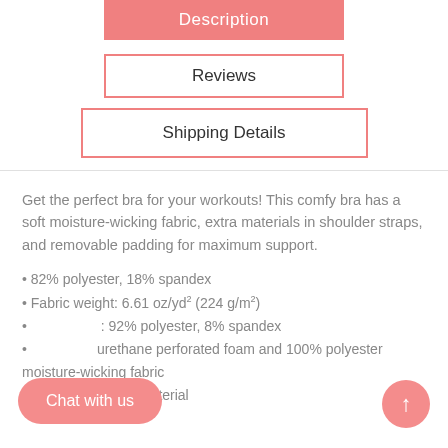Description
Reviews
Shipping Details
Get the perfect bra for your workouts! This comfy bra has a soft moisture-wicking fabric, extra materials in shoulder straps, and removable padding for maximum support.
82% polyester, 18% spandex
Fabric weight: 6.61 oz/yd² (224 g/m²)
92% polyester, 8% spandex
urethane perforated foam and 100% polyester moisture-wicking fabric
Four-way stretch material